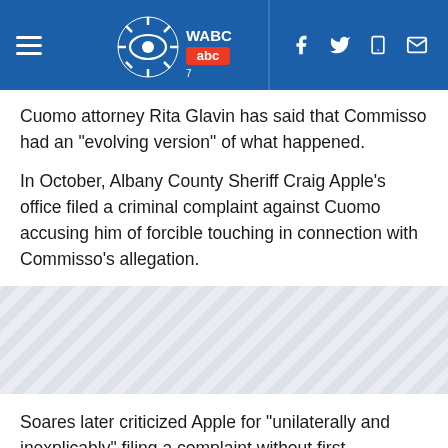WABC 7 ABC News header with navigation and social icons
Cuomo attorney Rita Glavin has said that Commisso had an “evolving version” of what happened.
In October, Albany County Sheriff Craig Apple’s office filed a criminal complaint against Cuomo accusing him of forcible touching in connection with Commisso’s allegation.
[Figure (other): Advertisement placeholder with diagonal stripe pattern]
Soares later criticized Apple for “unilaterally and inexplicably” filing a complaint without first consulting with his office. The prosecutor criticized Apple’s filing as “potentially defective” in asking a judge to delay Cuomo’s arraignment from November to January.